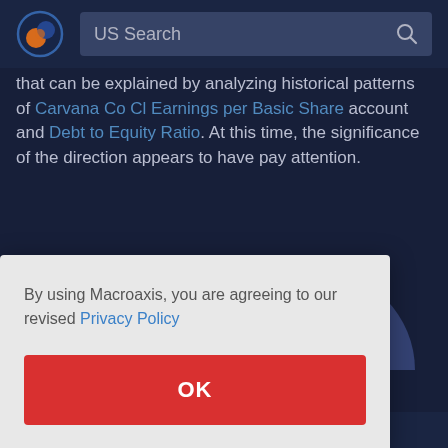US Search
that can be explained by analyzing historical patterns of Carvana Co Cl Earnings per Basic Share account and Debt to Equity Ratio. At this time, the significance of the direction appears to have pay attention.
[Figure (illustration): Two overlapping semi-circles, one orange and one dark navy/blue, partially visible]
By using Macroaxis, you are agreeing to our revised Privacy Policy
OK
Debt to Equity Ratio